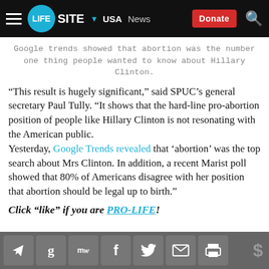LIFESITE | USA | News | Donate
Google trends showed that abortion was the number one thing people wanted to know about Hillary Clinton.
“This result is hugely significant,” said SPUC’s general secretary Paul Tully. “It shows that the hard-line pro-abortion position of people like Hillary Clinton is not resonating with the American public. Yesterday, Google Trends revealed that ‘abortion’ was the top search about Mrs Clinton. In addition, a recent Marist poll showed that 80% of Americans disagree with her position that abortion should be legal up to birth.”
Click “like” if you are PRO-LIFE!
Social share icons: send, g, mw, facebook, twitter, email, print, dollar